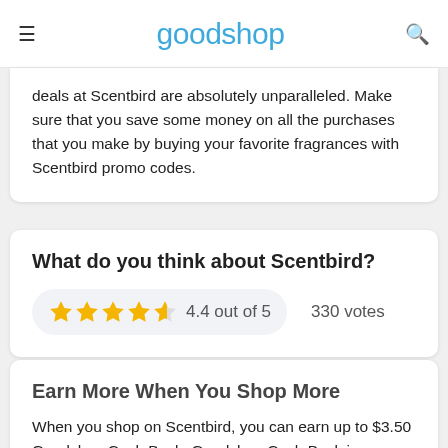goodshop
deals at Scentbird are absolutely unparalleled. Make sure that you save some money on all the purchases that you make by buying your favorite fragrances with Scentbird promo codes.
What do you think about Scentbird?
4.4 out of 5   330 votes
Earn More When You Shop More
When you shop on Scentbird, you can earn up to $3.50 Goodshop Cash Back. Goodshop Cash Back is a special type of discount that you can only earn Cash Back on every online